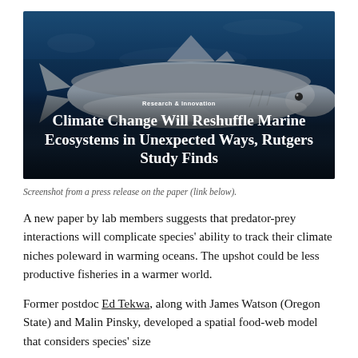[Figure (screenshot): Screenshot of a Rutgers University press release page showing a great white shark underwater with the headline 'Climate Change Will Reshuffle Marine Ecosystems in Unexpected Ways, Rutgers Study Finds' and a 'Research & Innovation' tag.]
Screenshot from a press release on the paper (link below).
A new paper by lab members suggests that predator-prey interactions will complicate species' ability to track their climate niches poleward in warming oceans. The upshot could be less productive fisheries in a warmer world.
Former postdoc Ed Tekwa, along with James Watson (Oregon State) and Malin Pinsky, developed a spatial food-web model that considers species' size